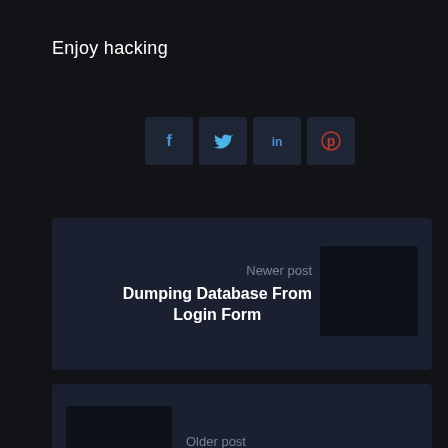Enjoy hacking
[Figure (infographic): Row of four social media share buttons: Facebook (blue f icon), Twitter (blue bird icon), LinkedIn (blue in icon), Pinterest (red p icon), each on a dark square background]
[Figure (infographic): Newer post card with label 'Newer post', bold title 'Dumping Database From Login Form', and a dark thumbnail image on the right]
[Figure (infographic): Older post card with a dark thumbnail on the left, label 'Older post', and bold title 'Blind SQL Injection', with a scroll-to-top arrow button at bottom right]